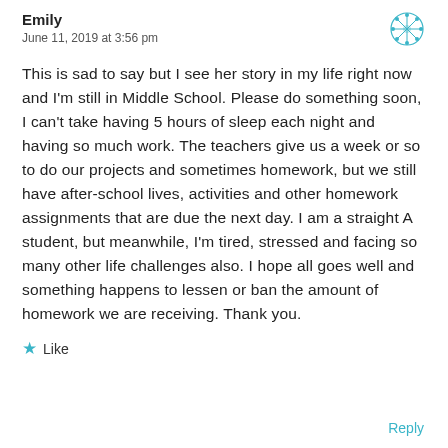Emily
June 11, 2019 at 3:56 pm
This is sad to say but I see her story in my life right now and I'm still in Middle School. Please do something soon, I can't take having 5 hours of sleep each night and having so much work. The teachers give us a week or so to do our projects and sometimes homework, but we still have after-school lives, activities and other homework assignments that are due the next day. I am a straight A student, but meanwhile, I'm tired, stressed and facing so many other life challenges also. I hope all goes well and something happens to lessen or ban the amount of homework we are receiving. Thank you.
Like
Reply